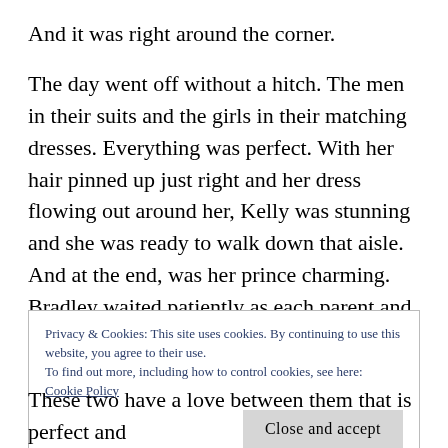And it was right around the corner.
The day went off without a hitch. The men in their suits and the girls in their matching dresses. Everything was perfect. With her hair pinned up just right and her dress flowing out around her, Kelly was stunning and she was ready to walk down that aisle. And at the end, was her prince charming. Bradley waited patiently as each parent and attendant walked out first. The doors shut and the congregation stood. Everyone seemed to hold their breath as they waited for the doors to open. But no
Privacy & Cookies: This site uses cookies. By continuing to use this website, you agree to their use.
To find out more, including how to control cookies, see here:
Cookie Policy
[Close and accept]
These two have a love between them that is perfect and